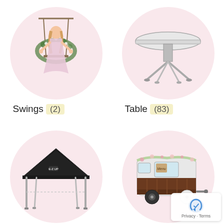[Figure (photo): A woman in a pink flowy dress sitting on a floral swing, inside a pink circle, representing Swings rental category]
[Figure (photo): A round white folding table with metal legs, inside a pink circle, representing Table rental category]
Swings (2)
Table (83)
[Figure (photo): A black canopy/pop-up tent with silver metal frame legs, inside a pink circle]
[Figure (photo): A vintage-style white and wood food trailer/cart with floral decoration, inside a pink circle]